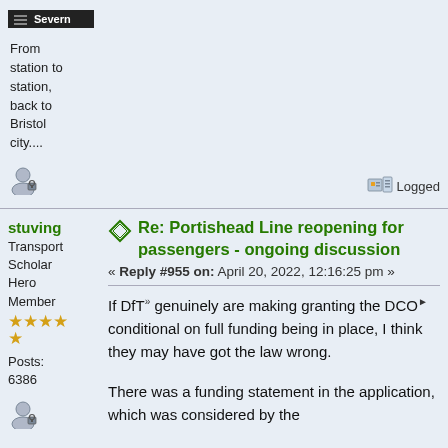[Figure (other): User avatar/profile image with black background and 'Severn' username label]
From station to station, back to Bristol city....
[Figure (other): Profile icon (user with lock)]
Logged
stuving
Transport Scholar Hero Member
Posts: 6386
Re: Portishead Line reopening for passengers - ongoing discussion
« Reply #955 on: April 20, 2022, 12:16:25 pm »
If DfT» genuinely are making granting the DCO• conditional on full funding being in place, I think they may have got the law wrong.
There was a funding statement in the application, which was considered by the